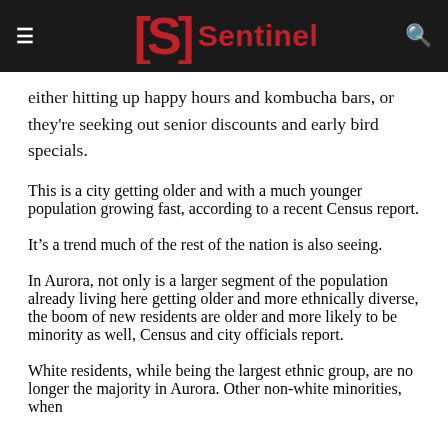Sentinel
either hitting up happy hours and kombucha bars, or they're seeking out senior discounts and early bird specials.
This is a city getting older and with a much younger population growing fast, according to a recent Census report.
It's a trend much of the rest of the nation is also seeing.
In Aurora, not only is a larger segment of the population already living here getting older and more ethnically diverse, the boom of new residents are older and more likely to be minority as well, Census and city officials report.
White residents, while being the largest ethnic group, are no longer the majority in Aurora. Other non-white minorities, when